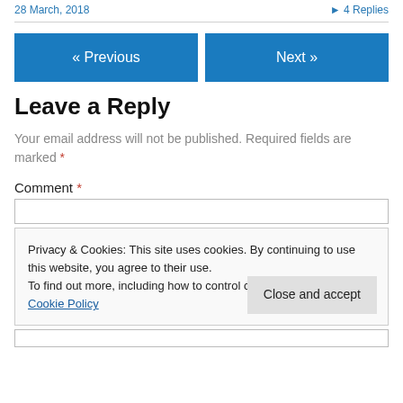28 March, 2018    ▶ 4 Replies
« Previous    Next »
Leave a Reply
Your email address will not be published. Required fields are marked *
Comment *
Privacy & Cookies: This site uses cookies. By continuing to use this website, you agree to their use. To find out more, including how to control cookies, see here: Cookie Policy
Close and accept